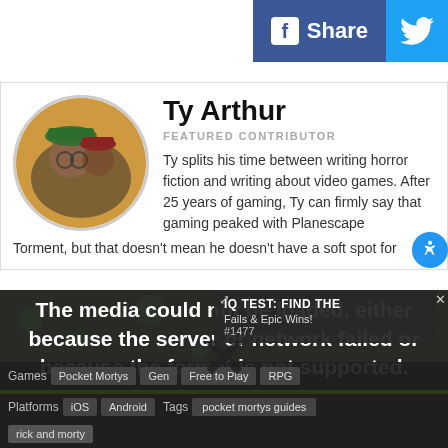[Figure (screenshot): Facebook Share button (blue) and Twitter share button (light blue) in top right]
[Figure (photo): Circular avatar photo of Ty Arthur with another person, wearing hats]
Ty Arthur
FEATURED CONTRIBUTOR
Ty splits his time between writing horror fiction and writing about video games. After 25 years of gaming, Ty can firmly say that gaming peaked with Planescape Torment, but that doesn't mean he doesn't have a soft spot for
[Figure (screenshot): Video player showing error message: The media could not be loaded, either because the server or network failed or because the format is not supported. Background shows game screenshot. Also shows ad panel: IQ TEST: FIND THE Fails & Epic Wins! #1477]
Games | Pocket Mortys | Gen | Free to Play | RPG
Platforms iOS Android Tags pocket mortys guides
rick and morty